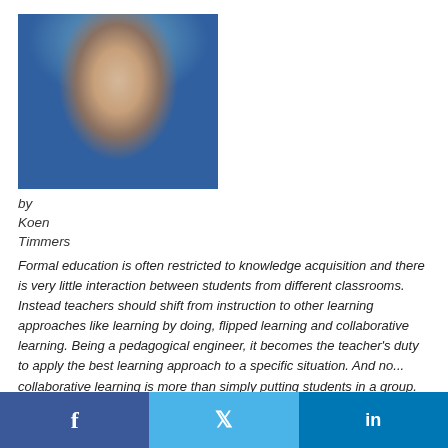[Figure (photo): Portrait photo of Koen Timmers, a man with short hair wearing a dark jacket and scarf, photographed outdoors with a blue sky background.]
by
Koen
Timmers
Formal education is often restricted to knowledge acquisition and there is very little interaction between students from different classrooms. Instead teachers should shift from instruction to other learning approaches like learning by doing, flipped learning and collaborative learning. Being a pedagogical engineer, it becomes the teacher's duty to apply the best learning approach to a specific situation. And no... collaborative learning is more than simply putting students in a group.
...
Read more